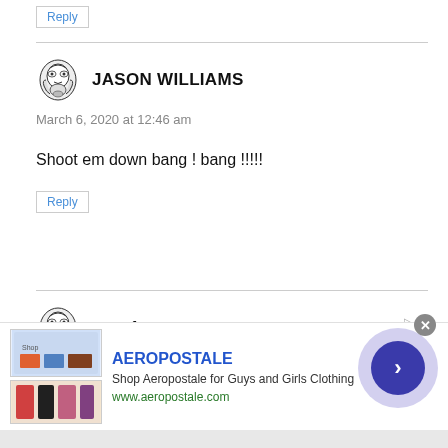Reply
JASON WILLIAMS
March 6, 2020 at 12:46 am
Shoot em down bang ! bang !!!!!
Reply
Joseph Fraser
March 6, 2020 at 12:49 am
[Figure (other): Aeropostale advertisement banner with clothing images, brand name, tagline 'Shop Aeropostale for Guys and Girls Clothing', URL www.aeropostale.com, and navigation arrow button]